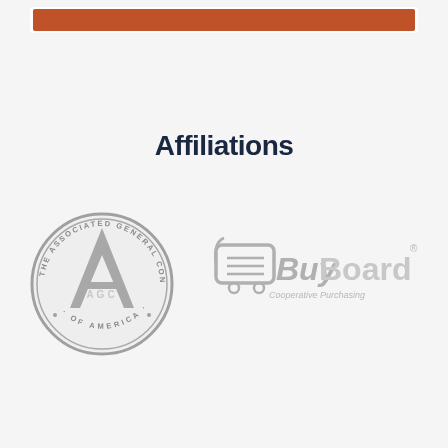[Figure (other): Red/terracotta colored header bar at top of page]
Affiliations
[Figure (logo): AGC - The Associated General Contractors of America circular seal logo in gray]
[Figure (logo): BuyBoard Cooperative Purchasing logo in gray]